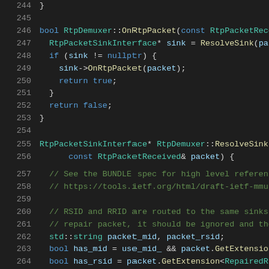[Figure (screenshot): Source code screenshot showing C++ code for RtpDemuxer class methods, lines 244-265, with syntax highlighting on dark background. Shows OnRtpPacket and ResolveSink method implementations.]